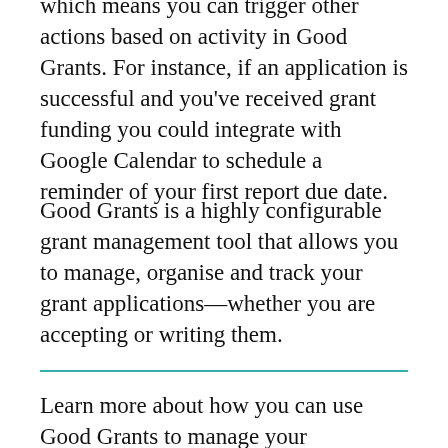which means you can trigger other actions based on activity in Good Grants. For instance, if an application is successful and you've received grant funding you could integrate with Google Calendar to schedule a reminder of your first report due date.
Good Grants is a highly configurable grant management tool that allows you to manage, organise and track your grant applications––whether you are accepting or writing them.
Learn more about how you can use Good Grants to manage your applications. Sign